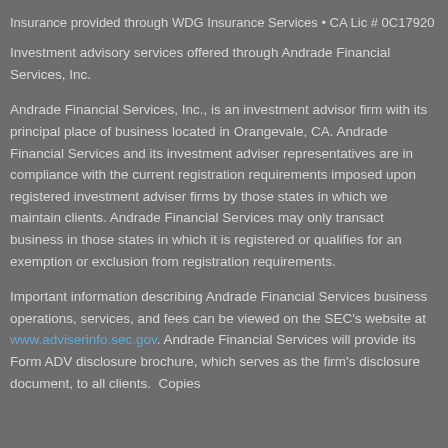Insurance provided through WDG Insurance Services • CA Lic # 0C17920
Investment advisory services offered through Andrade Financial Services, Inc.
Andrade Financial Services, Inc., is an investment advisor firm with its principal place of business located in Orangevale, CA. Andrade Financial Services and its investment adviser representatives are in compliance with the current registration requirements imposed upon registered investment adviser firms by those states in which we maintain clients. Andrade Financial Services may only transact business in those states in which it is registered or qualifies for an exemption or exclusion from registration requirements.
Important information describing Andrade Financial Services business operations, services, and fees can be viewed on the SEC's website at www.adviserinfo.sec.gov. Andrade Financial Services will provide its Form ADV disclosure brochure, which serves as the firm's disclosure document, to all clients. Copies